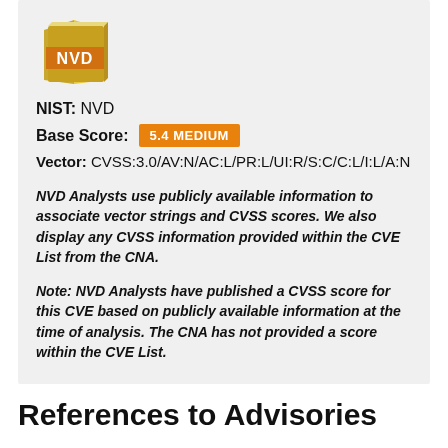[Figure (logo): NVD logo - gold book with 'NVD' text on a banner]
NIST: NVD
Base Score: 5.4 MEDIUM
Vector: CVSS:3.0/AV:N/AC:L/PR:L/UI:R/S:C/C:L/I:L/A:N
NVD Analysts use publicly available information to associate vector strings and CVSS scores. We also display any CVSS information provided within the CVE List from the CNA.
Note: NVD Analysts have published a CVSS score for this CVE based on publicly available information at the time of analysis. The CNA has not provided a score within the CVE List.
References to Advisories